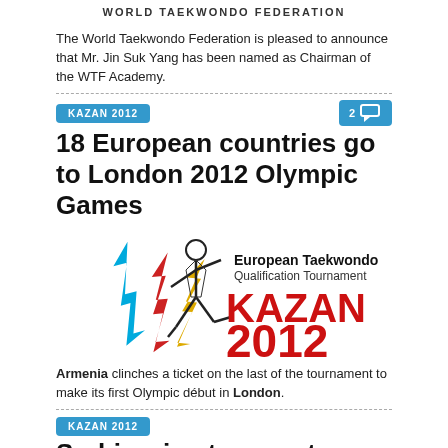WORLD TAEKWONDO FEDERATION
The World Taekwondo Federation is pleased to announce that Mr. Jin Suk Yang has been named as Chairman of the WTF Academy.
KAZAN 2012
18 European countries go to London 2012 Olympic Games
[Figure (logo): European Taekwondo Qualification Tournament KAZAN 2012 logo with athlete and lightning bolt graphics]
Armenia clinches a ticket on the last of the tournament to make its first Olympic début in London.
KAZAN 2012
Serbia wins two quota places for the